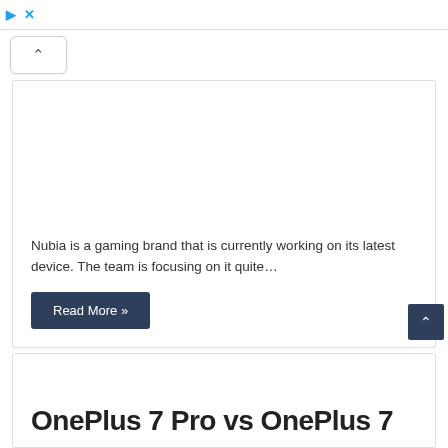▶ ✕
[Figure (screenshot): Collapse/scroll-up button UI element with caret icon]
Nubia is a gaming brand that is currently working on its latest device. The team is focusing on it quite…
Read More »
[Figure (screenshot): Scroll-to-top button with caret icon]
OnePlus 7 Pro vs OnePlus 7